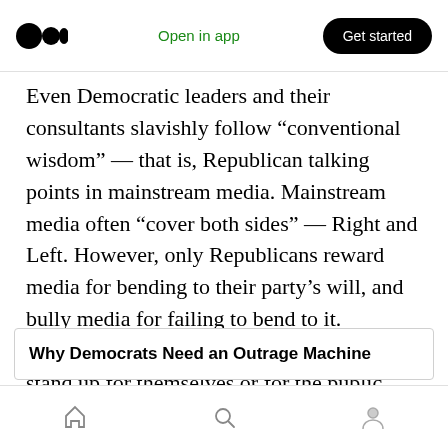Open in app | Get started
Even Democratic leaders and their consultants slavishly follow “conventional wisdom” — that is, Republican talking points in mainstream media. Mainstream media often “cover both sides” — Right and Left. However, only Republicans reward media for bending to their party’s will, and bully media for failing to bend to it. Democrats, in contrast, usually don’t even stand up for themselves or for the public when media are unfair.
Why Democrats Need an Outrage Machine
Home | Search | Profile